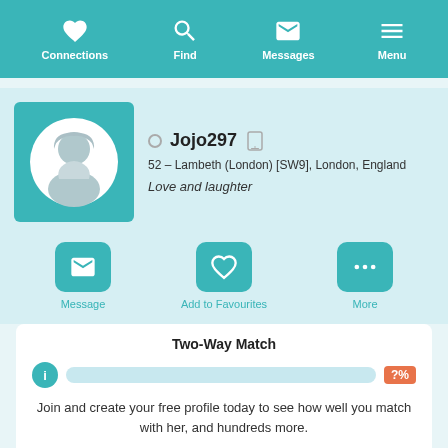Connections | Find | Messages | Menu
[Figure (photo): Female silhouette avatar placeholder in teal square]
Jojo297
52 – Lambeth (London) [SW9], London, England
Love and laughter
Message
Add to Favourites
More
Two-Way Match
?%
Join and create your free profile today to see how well you match with her, and hundreds more.
Join now
Online: More than 6 months ago